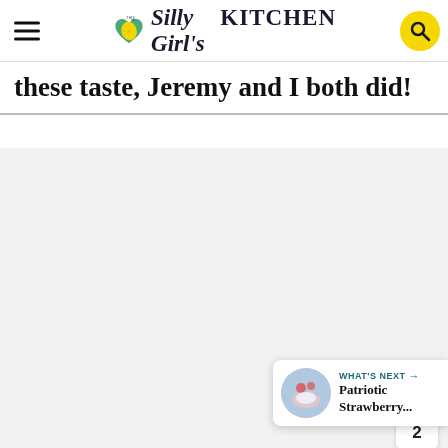This Silly Girl's Kitchen
these taste, Jeremy and I both did!
[Figure (photo): Large light gray placeholder image area occupying most of the page below the intro text]
2
WHAT'S NEXT → Patriotic Strawberry...